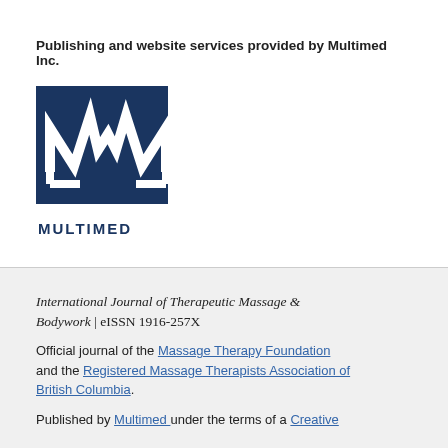Publishing and website services provided by Multimed Inc.
[Figure (logo): Multimed Inc. logo: dark blue square with white stylized M/heartbeat line graphic, with MULTIMED text below in dark blue bold capitals]
International Journal of Therapeutic Massage & Bodywork | eISSN 1916-257X
Official journal of the Massage Therapy Foundation and the Registered Massage Therapists Association of British Columbia.
Published by Multimed under the terms of a Creative